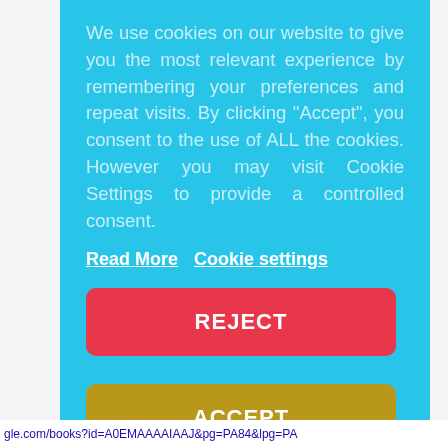We use cookies on our website to give you the most relevant experience by remembering your preferences and repeat visits. By clicking “Accept”, you consent to the use of ALL the cookies. However you may visit Cookie Settings to provide a controlled consent.
Read More   Cookie settings
REJECT
ACCEPT
gle.com/books?id=A0EMAAAAIAAJ&pg=PA84&lpg=PA